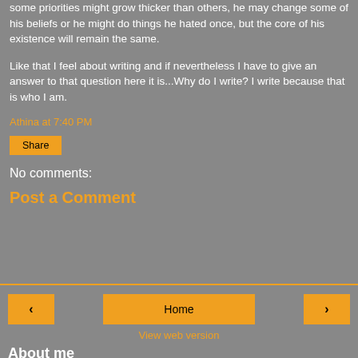some priorities might grow thicker than others, he may change some of his beliefs or he might do things he hated once, but the core of his existence will remain the same.
Like that I feel about writing and if nevertheless I have to give an answer to that question here it is...Why do I write? I write because that is who I am.
Athina at 7:40 PM
Share
No comments:
Post a Comment
Home
View web version
About me